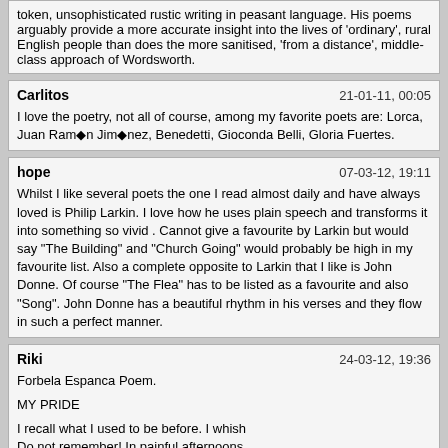token, unsophisticated rustic writing in peasant language. His poems arguably provide a more accurate insight into the lives of 'ordinary', rural English people than does the more sanitised, 'from a distance', middle-class approach of Wordsworth.
Carlitos	21-01-11, 00:05
I love the poetry, not all of course, among my favorite poets are: Lorca, Juan Ramón Jiménez, Benedetti, Gioconda Belli, Gloria Fuertes.
hope	07-03-12, 19:11
Whilst I like several poets the one I read almost daily and have always loved is Philip Larkin. I love how he uses plain speech and transforms it into something so vivid . Cannot give a favourite by Larkin but would say "The Building" and "Church Going" would probably be high in my favourite list. Also a complete opposite to Larkin that I like is John Donne. Of course "The Flea" has to be listed as a favourite and also "Song". John Donne has a beautiful rhythm in his verses and they flow in such a perfect manner.
Riki	24-03-12, 19:36
Forbela Espanca Poem.

MY PRIDE

I recall what I used to be before. I whish
Do not remember! In painful afternoons
I recall I was a spring
That, in old walls, made be born the roses!

My hands, once tender,
Used to hover as doves do... Who could know
Why everything is gone and was a chimera,
And why don't old walls give roses!?